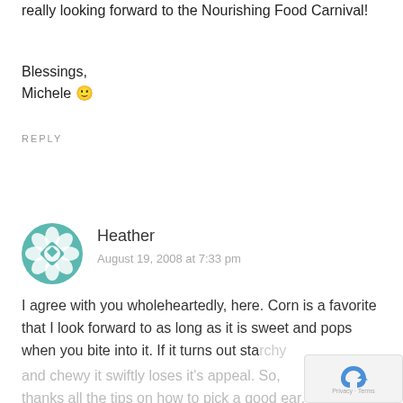really looking forward to the Nourishing Food Carnival!
Blessings,
Michele 🙂
REPLY
[Figure (logo): Teal geometric floral avatar icon for user Heather]
Heather
August 19, 2008 at 7:33 pm
I agree with you wholeheartedly, here. Corn is a favorite that I look forward to as long as it is sweet and pops when you bite into it. If it turns out starchy and chewy it swiftly loses it's appeal. So, thanks all the tips on how to pick a good ear. (That sou…